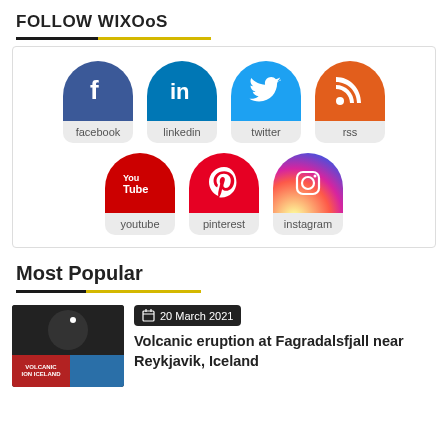FOLLOW WIXOoS
[Figure (infographic): Social media follow buttons arranged in two rows: facebook, linkedin, twitter, rss in first row; youtube, pinterest, instagram in second row. Each icon is a colored circle (half-circle top) with label below on grey rounded rectangle background.]
Most Popular
[Figure (photo): Thumbnail image showing a crescent moon icon on dark background top half, and bottom half split between red volcanic image labeled VOLCANIC ION ICELAND and a blue winter landscape.]
20 March 2021
Volcanic eruption at Fagradalsfjall near Reykjavik, Iceland